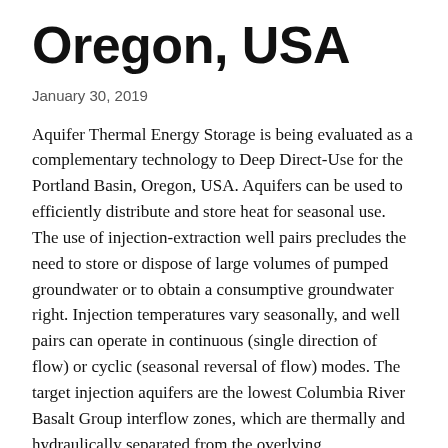Oregon, USA
January 30, 2019
Aquifer Thermal Energy Storage is being evaluated as a complementary technology to Deep Direct-Use for the Portland Basin, Oregon, USA. Aquifers can be used to efficiently distribute and store heat for seasonal use. The use of injection-extraction well pairs precludes the need to store or dispose of large volumes of pumped groundwater or to obtain a consumptive groundwater right. Injection temperatures vary seasonally, and well pairs can operate in continuous (single direction of flow) or cyclic (seasonal reversal of flow) modes. The target injection aquifers are the lowest Columbia River Basalt Group interflow zones, which are thermally and hydraulically separated from the overlying